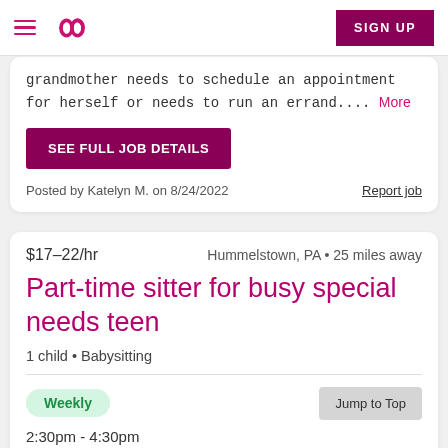Sittercity navigation bar with hamburger menu, logo, and SIGN UP button
grandmother needs to schedule an appointment for herself or needs to run an errand.... More
SEE FULL JOB DETAILS
Posted by Katelyn M. on 8/24/2022
Report job
$17–22/hr    Hummelstown, PA • 25 miles away
Part-time sitter for busy special needs teen
1 child • Babysitting
Weekly
2:30pm - 4:30pm
Jump to Top